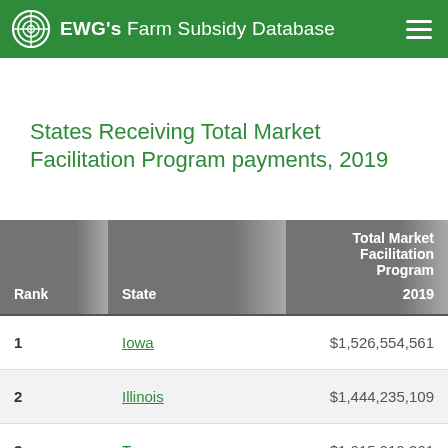EWG's Farm Subsidy Database
States Receiving Total Market Facilitation Program payments, 2019
| Rank | State | Total Market Facilitation Program 2019 |
| --- | --- | --- |
| 1 | Iowa | $1,526,554,561 |
| 2 | Illinois | $1,444,235,109 |
| 3 | Texas | $1,015,919,261 |